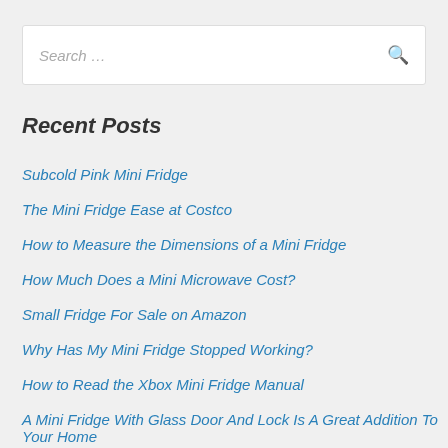Search …
Recent Posts
Subcold Pink Mini Fridge
The Mini Fridge Ease at Costco
How to Measure the Dimensions of a Mini Fridge
How Much Does a Mini Microwave Cost?
Small Fridge For Sale on Amazon
Why Has My Mini Fridge Stopped Working?
How to Read the Xbox Mini Fridge Manual
A Mini Fridge With Glass Door And Lock Is A Great Addition To Your Home
Galanz Mini Fridge Review – Price, Features, Reviews, and Where